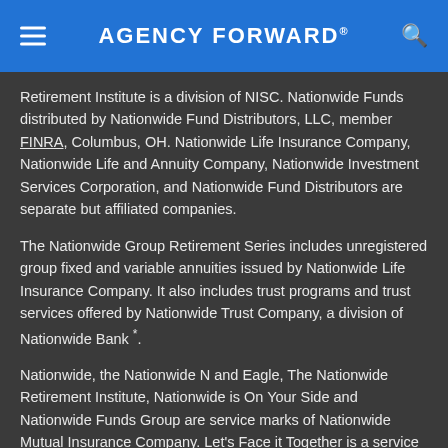AGENCY FORWARD®
Retirement Institute is a division of NISC. Nationwide Funds distributed by Nationwide Fund Distributors, LLC, member FINRA, Columbus, OH. Nationwide Life Insurance Company, Nationwide Life and Annuity Company, Nationwide Investment Services Corporation, and Nationwide Fund Distributors are separate but affiliated companies.
The Nationwide Group Retirement Series includes unregistered group fixed and variable annuities issued by Nationwide Life Insurance Company. It also includes trust programs and trust services offered by Nationwide Trust Company, a division of Nationwide Bank *.
Nationwide, the Nationwide N and Eagle, The Nationwide Retirement Institute, Nationwide is On Your Side and Nationwide Funds Group are service marks of Nationwide Mutual Insurance Company. Let's Face it Together is a service mark of Nationwide Life Insurance Company.